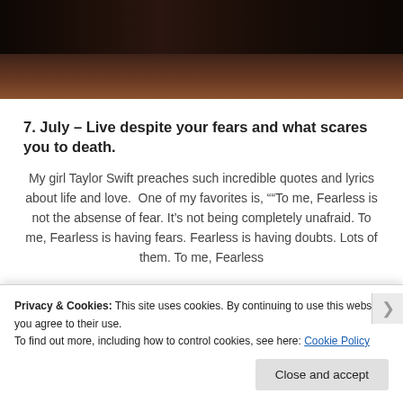[Figure (photo): Dark brownish-red photo background, appears to be a dimly lit scene, cropped at top of page]
7. July – Live despite your fears and what scares you to death.
My girl Taylor Swift preaches such incredible quotes and lyrics about life and love.  One of my favorites is, "“To me, Fearless is not the absense of fear. It’s not being completely unafraid. To me, Fearless is having fears. Fearless is having doubts. Lots of them. To me, Fearless
Privacy & Cookies: This site uses cookies. By continuing to use this website, you agree to their use.
To find out more, including how to control cookies, see here: Cookie Policy
Close and accept